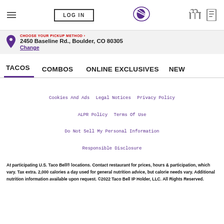LOG IN | Taco Bell | Gift | Card
CHOOSE YOUR PICKUP METHOD › 2450 Baseline Rd., Boulder, CO 80305 Change
TACOS   COMBOS   ONLINE EXCLUSIVES   NEW
Cookies And Ads   Legal Notices   Privacy Policy   ALPR Policy   Terms Of Use   Do Not Sell My Personal Information   Responsible Disclosure
At participating U.S. Taco Bell® locations. Contact restaurant for prices, hours & participation, which vary. Tax extra. 2,000 calories a day used for general nutrition advice, but calorie needs vary. Additional nutrition information available upon request. ©2022 Taco Bell IP Holder, LLC. All Rights Reserved.